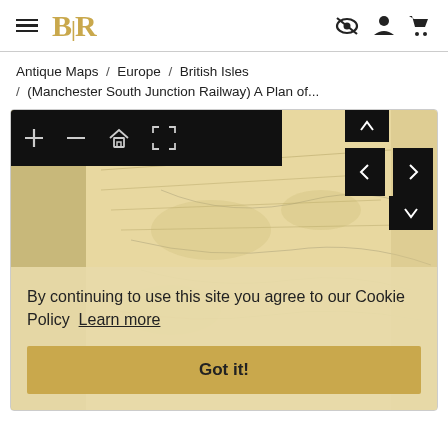BLR — navigation header with hamburger menu, logo, and icons (hidden, user, cart)
Antique Maps / Europe / British Isles / (Manchester South Junction Railway) A Plan of...
[Figure (screenshot): Antique map image viewer showing an old yellowed map of the Manchester South Junction Railway area, with toolbar controls (zoom in, zoom out, home, expand) on a black bar at top, and navigation arrows on the right side.]
By continuing to use this site you agree to our Cookie Policy  Learn more
Got it!